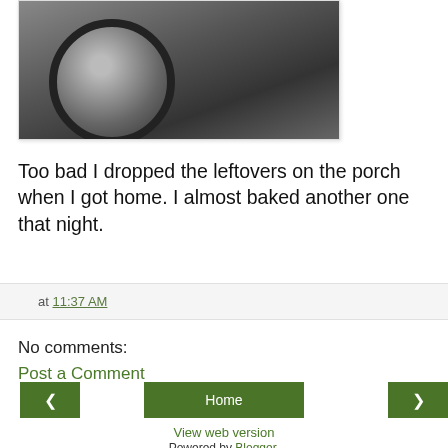[Figure (photo): A cropped photo showing a dark circular object (possibly a pan or dish) wrapped in plastic, with a person visible in background]
Too bad I dropped the leftovers on the porch when I got home. I almost baked another one that night.
at 11:37 AM
No comments:
Post a Comment
Home | View web version | Powered by Blogger.